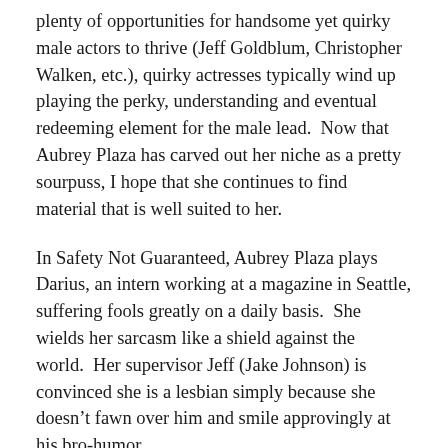plenty of opportunities for handsome yet quirky male actors to thrive (Jeff Goldblum, Christopher Walken, etc.), quirky actresses typically wind up playing the perky, understanding and eventual redeeming element for the male lead.  Now that Aubrey Plaza has carved out her niche as a pretty sourpuss, I hope that she continues to find material that is well suited to her.
In Safety Not Guaranteed, Aubrey Plaza plays Darius, an intern working at a magazine in Seattle, suffering fools greatly on a daily basis.  She wields her sarcasm like a shield against the world.  Her supervisor Jeff (Jake Johnson) is convinced she is a lesbian simply because she doesn't fawn over him and smile approvingly at his bro-humor.
Darius lives a quiet life with her dad at home.  Even he notices that she never goes out on dates.  One day, during the magazine's daily writers roundtable, Jeff proposes to